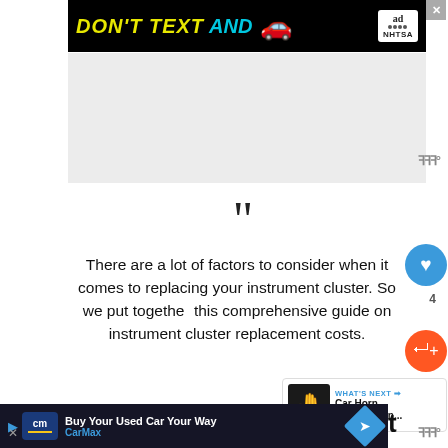[Figure (other): NHTSA advertisement banner: 'DON'T TEXT AND [car emoji]' with ad badge and close button]
[Figure (other): Gray placeholder advertisement area in the middle of the page]
❝
There are a lot of factors to consider when it comes to replacing your instrument cluster. So we put together this comprehensive guide on instrument cluster replacement costs.
We will cover replacement costs for the
[Figure (other): Bottom advertisement banner: CarMax 'Buy Your Used Car Your Way' with logo and navigation icon]